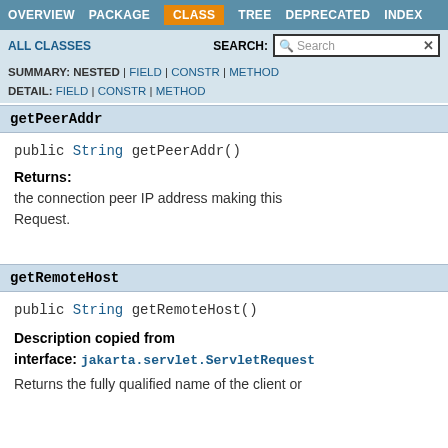OVERVIEW  PACKAGE  CLASS  TREE  DEPRECATED  INDEX
ALL CLASSES   SEARCH:
SUMMARY: NESTED | FIELD | CONSTR | METHOD  DETAIL: FIELD | CONSTR | METHOD
getPeerAddr
public String getPeerAddr()
Returns:
the connection peer IP address making this Request.
getRemoteHost
public String getRemoteHost()
Description copied from interface: jakarta.servlet.ServletRequest
Returns the fully qualified name of the client or